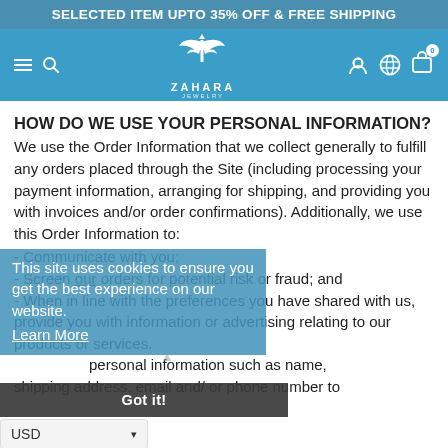SELECTED ITEM UPTO 35% OFF & FREE SHIPPING
[Figure (logo): Zahara Jewelry logo with eagle and cross, navigation bar with hamburger menu, search icon, account icon, globe icon, and cart icon]
HOW DO WE USE YOUR PERSONAL INFORMATION?
We use the Order Information that we collect generally to fulfill any orders placed through the Site (including processing your payment information, arranging for shipping, and providing you with invoices and/or order confirmations). Additionally, we use this Order Information to:
- Communicate with you;
- Screen our orders for potential risk or fraud; and
- When in line with the preferences you have shared with us, provide you with information or advertising relating to our products or services.
personal information such as name, shipping address, email and/ or phone number to
This site uses cookies to ensure you get the best experience on our website.
Learn More
Got it!
USD